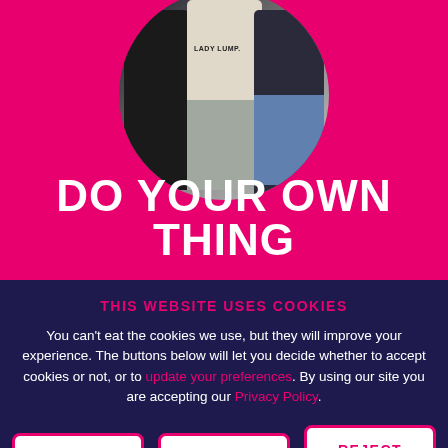[Figure (photo): Circular cropped photo of three people standing together, on a hot pink background. The person on the left wears black, the center person wears a light-colored shirt reading 'LADY LUMP' with grey trousers, and the right person wears dark top with jeans.]
DO YOUR OWN THING
THIS WEBSITE USES COOKIES
You can't eat the cookies we use, but they will improve your experience. The buttons below will let you decide whether to accept cookies or not, or to update your preferences. By using our site you are accepting our Privacy Policy.
ACCEPT
CLOSE
REJECT ALL